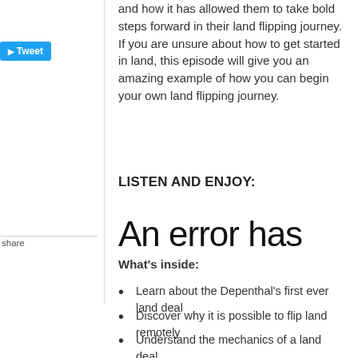and how it has allowed them to take bold steps forward in their land flipping journey. If you are unsure about how to get started in land, this episode will give you an amazing example of how you can begin your own land flipping journey.
LISTEN AND ENJOY:
[Figure (screenshot): An error has occurred – partial error message displayed in large text]
What's inside:
Learn about the Depenthal's first ever land deal
Discover why it is possible to flip land remotely
Understand the mechanics of a land deal
MENTIONED IN THIS EPISODE
Subscribe and leave a comment at...